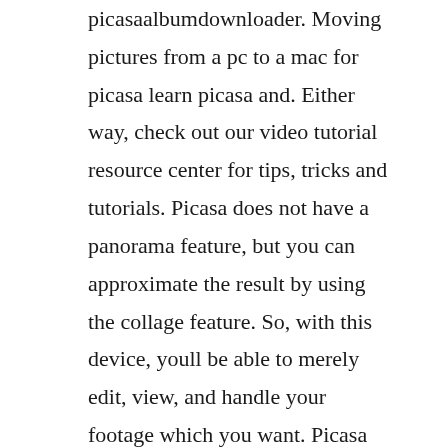picasaalbumdownloader. Moving pictures from a pc to a mac for picasa learn picasa and. Either way, check out our video tutorial resource center for tips, tricks and tutorials. Picasa does not have a panorama feature, but you can approximate the result by using the collage feature. So, with this device, youll be able to merely edit, view, and handle your footage which you want. Picasa allows you to organize and edit your photos and videos. How to use picasa to backup all photos to an external hard drive. After the cutoff date, existing picasa installations will still work.